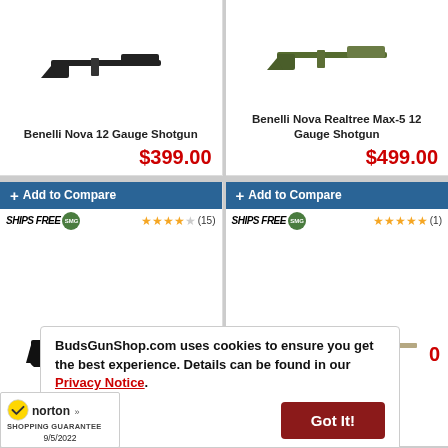[Figure (photo): Benelli Nova 12 Gauge Shotgun product image (top cropped)]
Benelli Nova 12 Gauge Shotgun
$399.00
[Figure (photo): Benelli Nova Realtree Max-5 12 Gauge Shotgun product image (top cropped)]
Benelli Nova Realtree Max-5 12 Gauge Shotgun
$499.00
+ Add to Compare
[Figure (photo): SHIPS FREE SMG badge]
★★★★☆ (15)
[Figure (photo): Black shotgun product photo]
+ Add to Compare
[Figure (photo): SHIPS FREE SMG badge]
★★★★★ (1)
[Figure (photo): Camo shotgun product photo]
BudsGunShop.com uses cookies to ensure you get the best experience. Details can be found in our Privacy Notice.
Got It!
[Figure (logo): Norton Shopping Guarantee logo with checkmark, dated 9/5/2022]